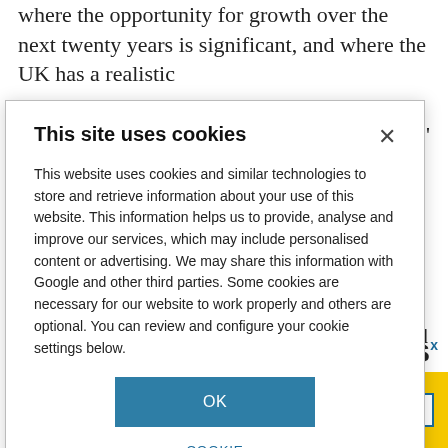where the opportunity for growth over the next twenty years is significant, and where the UK has a realistic
in the world.'
e looking towards nce base, and that , curiosity-driven by favouring ating too heavily irectly
[Figure (screenshot): Cookie consent modal dialog with title 'This site uses cookies', body text about cookies and privacy, OK button, and COOKIE SETTINGS link]
eaks
[Figure (infographic): Yellow advertisement banner with GET MORE button in blue border]